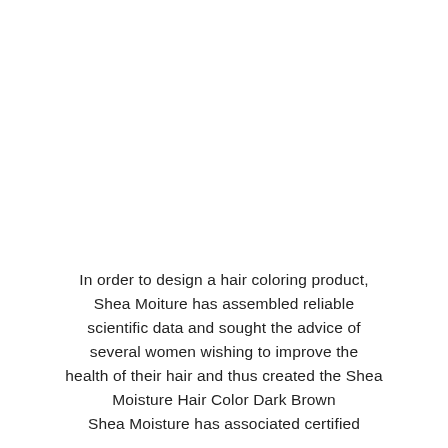In order to design a hair coloring product, Shea Moiture has assembled reliable scientific data and sought the advice of several women wishing to improve the health of their hair and thus created the Shea Moisture Hair Color Dark Brown Shea Moisture has associated certified